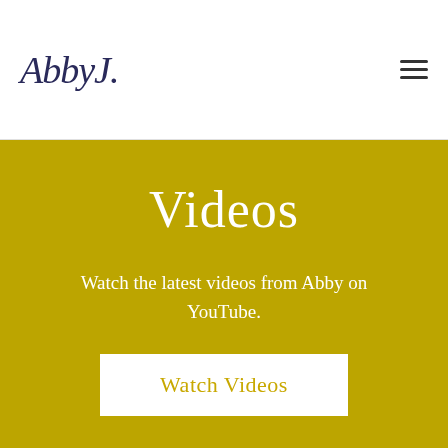AbbyJ. [logo] [hamburger menu]
Videos
Watch the latest videos from Abby on YouTube.
Watch Videos
PRO-LIFE SUMMIT
HISTORYMAKER